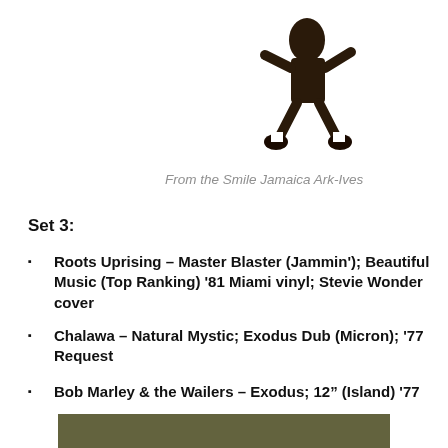[Figure (photo): Cropped photo of a person (dancer/performer) in mid-air or dynamic pose, wearing dark clothing, against a white background. Only the lower body is visible.]
From the Smile Jamaica Ark-Ives
Set 3:
Roots Uprising – Master Blaster (Jammin'); Beautiful Music (Top Ranking) '81 Miami vinyl; Stevie Wonder cover
Chalawa – Natural Mystic; Exodus Dub (Micron); '77 Request
Bob Marley & the Wailers – Exodus; 12" (Island) '77
[Figure (photo): Partial view of a dark olive/brown colored album cover or record sleeve, cropped at bottom of page.]